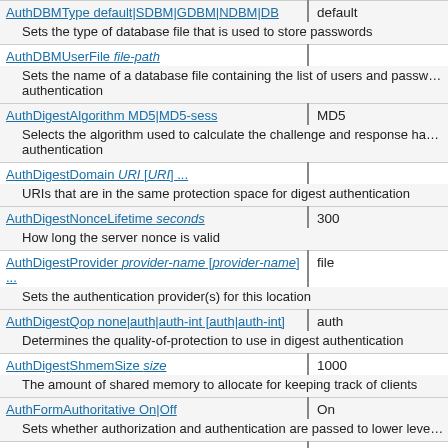| Directive | Default |
| --- | --- |
| AuthDBMType default|SDBM|GDBM|NDBM|DB | default |
| Sets the type of database file that is used to store passwords |  |
| AuthDBMUserFile file-path |  |
| Sets the name of a database file containing the list of users and passwords for authentication |  |
| AuthDigestAlgorithm MD5|MD5-sess | MD5 |
| Selects the algorithm used to calculate the challenge and response hash in digest authentication |  |
| AuthDigestDomain URI [URI] ... |  |
| URIs that are in the same protection space for digest authentication |  |
| AuthDigestNonceLifetime seconds | 300 |
| How long the server nonce is valid |  |
| AuthDigestProvider provider-name [provider-name] ... | file |
| Sets the authentication provider(s) for this location |  |
| AuthDigestQop none|auth|auth-int [auth|auth-int] | auth |
| Determines the quality-of-protection to use in digest authentication |  |
| AuthDigestShmemSize size | 1000 |
| The amount of shared memory to allocate for keeping track of clients |  |
| AuthFormAuthoritative On|Off | On |
| Sets whether authorization and authentication are passed to lower levels |  |
| AuthFormBody fieldname |  |